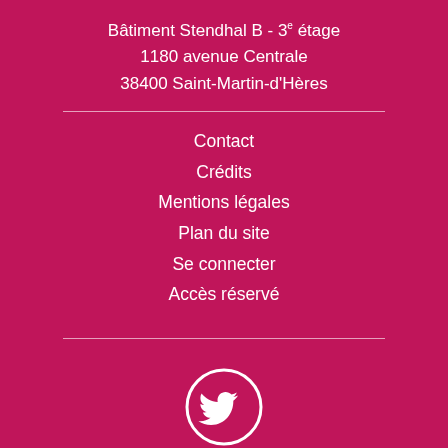Bâtiment Stendhal B - 3e étage
1180 avenue Centrale
38400 Saint-Martin-d'Hères
Contact
Crédits
Mentions légales
Plan du site
Se connecter
Accès réservé
[Figure (logo): Twitter bird icon in a white circle on a crimson/magenta background]